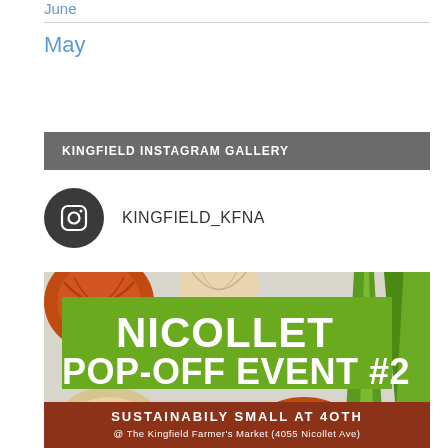June
May
KINGFIELD INSTAGRAM GALLERY
KINGFIELD_KFNA
[Figure (photo): Nicollet Pop-Off Event #2 promotional image featuring vegetables (onions, leeks) with green banner text 'NICOLLET POP-OFF EVENT #2' and brown banner 'SUSTAINABILY SMALL AT 4OTH @ The Kingfield Farmer's Market (4055 Nicollet Ave)']